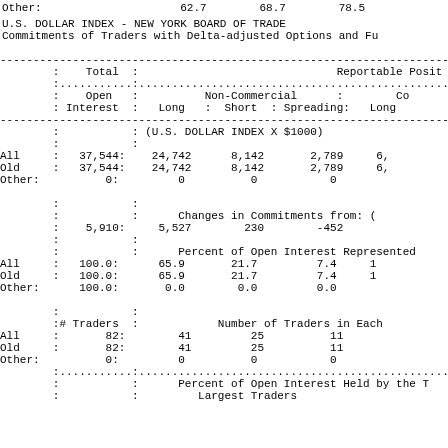Other:                     62.7        68.7        78.5
U.S. DOLLAR INDEX - NEW YORK BOARD OF TRADE
Commitments of Traders with Delta-adjusted Options and Fu
|  | Total |  | Reportable Posit |  | Open Interest | Non-Commercial | Co |  | Long | Short | Spreading: | Long |
| --- | --- | --- | --- | --- | --- | --- | --- | --- | --- | --- | --- | --- |
|  |  | (U.S. DOLLAR INDEX X $1000) |  |  |
| All | 37,544: | 24,742 | 8,142 | 2,789 | 6, |
| Old | 37,544: | 24,742 | 8,142 | 2,789 | 6, |
| Other: | 0: | 0 | 0 | 0 |  |
|  |  | Changes in Commitments from: ( |  |  |
|  | 5,910: | 5,527 | 230 | -452 |  |
|  |  | Percent of Open Interest Represented |  |  |
| All | 100.0: | 65.9 | 21.7 | 7.4 | 1 |
| Old | 100.0: | 65.9 | 21.7 | 7.4 | 1 |
| Other: | 100.0: | 0.0 | 0.0 | 0.0 |  |
|  | # Traders : |  | Number of Traders in Each |  |  |
| All | 82: | 41 | 25 | 11 |  |
| Old | 82: | 41 | 25 | 11 |  |
| Other: | 0: | 0 | 0 | 0 |  |
Percent of Open Interest Held by the T